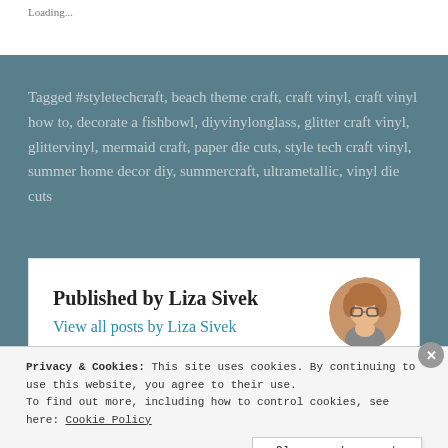Loading...
Tagged #styletechcraft, beach theme craft, craft vinyl, craft vinyl how to, decorate a fishbowl, diyvinylonglass, glitter craft vinyl, glittervinyl, mermaid craft, paper die cuts, style tech craft vinyl, summer home decor diy, summercraft, ultrametallic, vinyl die cuts
Published by Liza Sivek
View all posts by Liza Sivek
Privacy & Cookies: This site uses cookies. By continuing to use this website, you agree to their use.
To find out more, including how to control cookies, see here: Cookie Policy
Close and accept